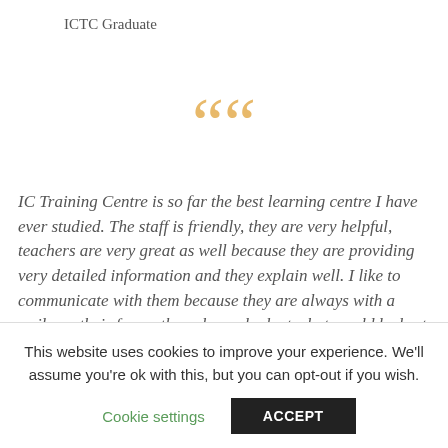ICTC Graduate
““
IC Training Centre is so far the best learning centre I have ever studied. The staff is friendly, they are very helpful, teachers are very great as well because they are providing very detailed information and they explain well. I like to communicate with them because they are always with a smile on their faces; they always look at what would be best for me and discuss that with me. IC Training Centre is like my second home where I am
This website uses cookies to improve your experience. We’ll assume you’re ok with this, but you can opt-out if you wish.
Cookie settings
ACCEPT